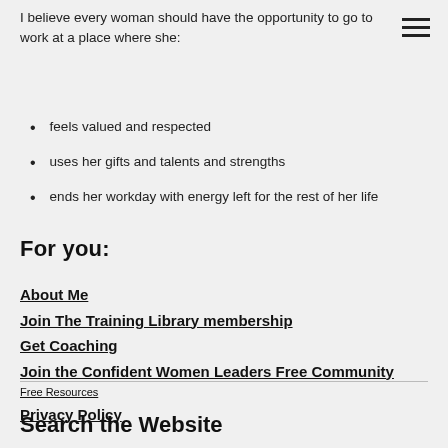I believe every woman should have the opportunity to go to work at a place where she:
feels valued and respected
uses her gifts and talents and strengths
ends her workday with energy left for the rest of her life
For you:
About Me
Join The Training Library membership
Get Coaching
Join the Confident Women Leaders Free Community
Free Resources
Privacy Policy
Search the Website